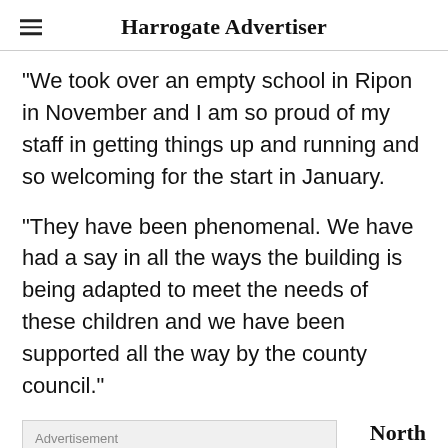Harrogate Advertiser
“We took over an empty school in Ripon in November and I am so proud of my staff in getting things up and running and so welcoming for the start in January.
“They have been phenomenal. We have had a say in all the ways the building is being adapted to meet the needs of these children and we have been supported all the way by the county council.”
Advertisement
North